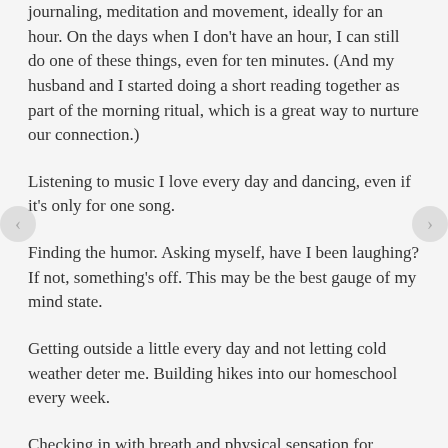journaling, meditation and movement, ideally for an hour. On the days when I don't have an hour, I can still do one of these things, even for ten minutes. (And my husband and I started doing a short reading together as part of the morning ritual, which is a great way to nurture our connection.)
Listening to music I love every day and dancing, even if it's only for one song.
Finding the humor. Asking myself, have I been laughing? If not, something's off. This may be the best gauge of my mind state.
Getting outside a little every day and not letting cold weather deter me. Building hikes into our homeschool every week.
Checking in with breath and physical sensation for